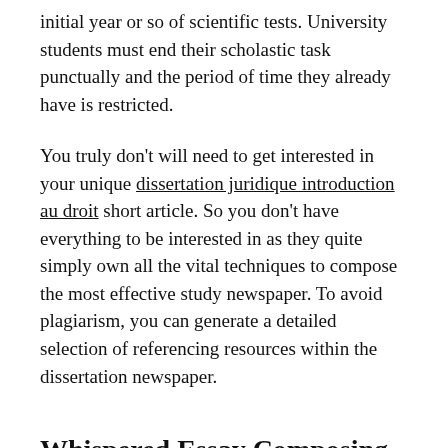initial year or so of scientific tests. University students must end their scholastic task punctually and the period of time they already have is restricted.
You truly don't will need to get interested in your unique dissertation juridique introduction au droit short article. So you don't have everything to be interested in as they quite simply own all the vital techniques to compose the most effective study newspaper. To avoid plagiarism, you can generate a detailed selection of referencing resources within the dissertation newspaper.
Whispered Essay Composing Service Secrets and techniques